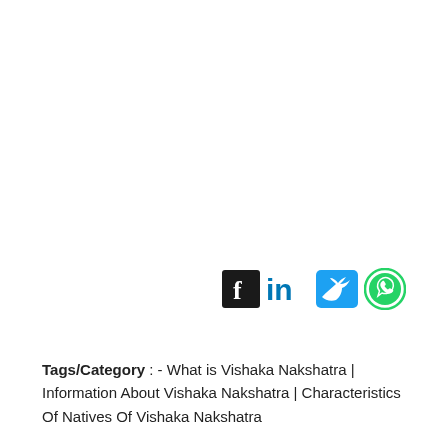[Figure (infographic): Social media share icons: Facebook, LinkedIn, Twitter, WhatsApp]
Tags/Category : - What is Vishaka Nakshatra | Information About Vishaka Nakshatra | Characteristics Of Natives Of Vishaka Nakshatra